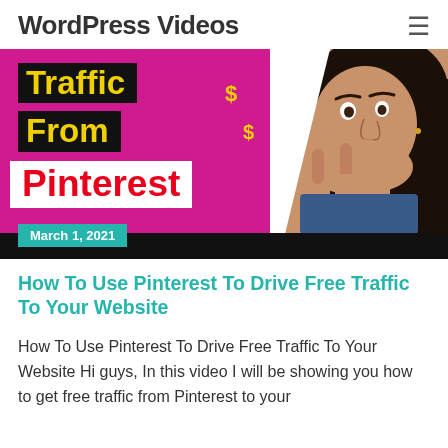WordPress Videos
[Figure (photo): Thumbnail image for a video about driving traffic from Pinterest to a website. Pink/magenta background with bold text 'Traffic From Pinterest' and dollar signs, plus a person covering their mouth in surprise.]
March 1, 2021
How To Use Pinterest To Drive Free Traffic To Your Website
How To Use Pinterest To Drive Free Traffic To Your Website Hi guys, In this video I will be showing you how to get free traffic from Pinterest to your